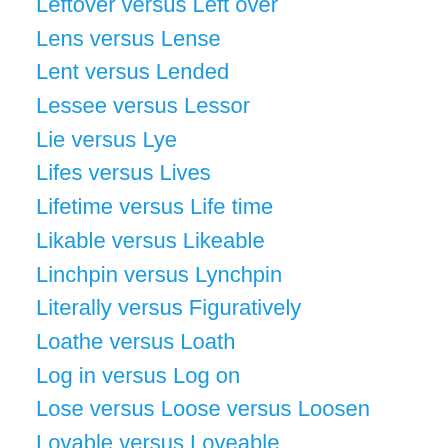Leftover versus Left over
Lens versus Lense
Lent versus Lended
Lessee versus Lessor
Lie versus Lye
Lifes versus Lives
Lifetime versus Life time
Likable versus Likeable
Linchpin versus Lynchpin
Literally versus Figuratively
Loathe versus Loath
Log in versus Log on
Lose versus Loose versus Loosen
Lovable versus Loveable
Make Do versus Make Due